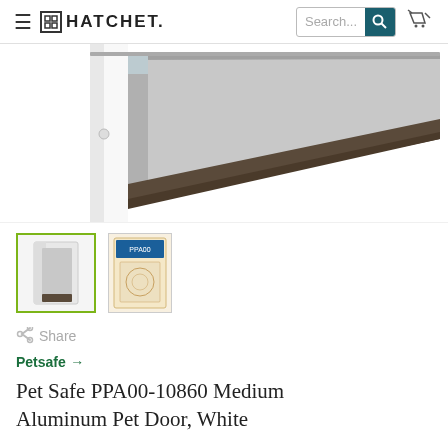HATCHET.
[Figure (photo): Close-up photo of a white aluminum pet door frame with a dark bronze/gray flap panel, shown at an angle on a white background.]
[Figure (photo): Thumbnail 1: Small photo of white aluminum pet door, front view.]
[Figure (photo): Thumbnail 2: Small photo of product packaging/box for the pet door.]
Share
Petsafe →
Pet Safe PPA00-10860 Medium Aluminum Pet Door, White